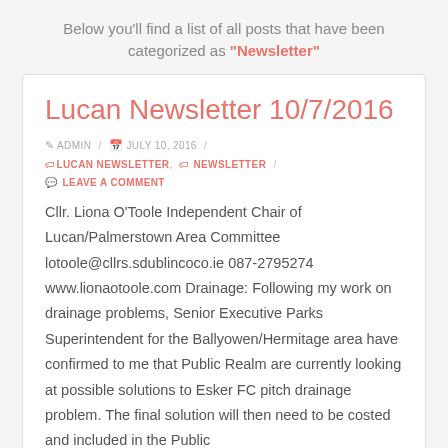Below you'll find a list of all posts that have been categorized as "Newsletter"
Lucan Newsletter 10/7/2016
ADMIN / JULY 10, 2016 / LUCAN NEWSLETTER , NEWSLETTER / LEAVE A COMMENT
Cllr. Liona O'Toole Independent Chair of Lucan/Palmerstown Area Committee lotoole@cllrs.sdublincoco.ie 087-2795274 www.lionaotoole.com Drainage: Following my work on drainage problems, Senior Executive Parks Superintendent for the Ballyowen/Hermitage area have confirmed to me that Public Realm are currently looking at possible solutions to Esker FC pitch drainage problem. The final solution will then need to be costed and included in the Public